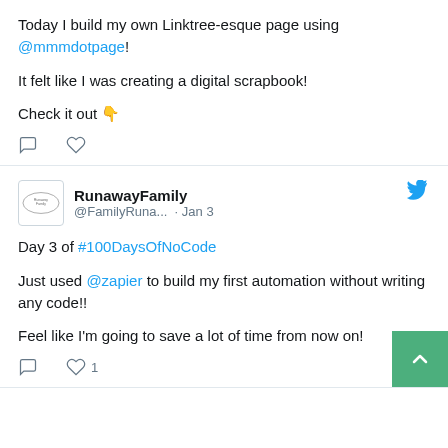Today I build my own Linktree-esque page using @mmmdotpage!

It felt like I was creating a digital scrapbook!

Check it out 👇
[Figure (screenshot): Comment and heart/like icons as tweet action buttons]
[Figure (screenshot): RunawayFamily avatar logo - small oval badge]
RunawayFamily @FamilyRuna... · Jan 3
[Figure (logo): Twitter bird icon in blue]
Day 3 of #100DaysOfNoCode

Just used @zapier to build my first automation without writing any code!!

Feel like I'm going to save a lot of time from now on!
[Figure (screenshot): Comment and heart/like icons with count 1 as tweet action buttons]